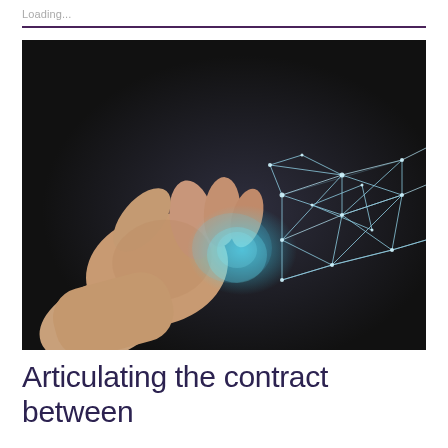Loading...
[Figure (illustration): A human hand reaching from the left shaking hands with a digital/wireframe hand made of glowing cyan and white geometric polygon mesh lines, set against a dark background. The digital hand appears to be composed of triangular polygon shapes with connecting nodes and edges, symbolizing human-AI interaction or digital collaboration.]
Articulating the contract between